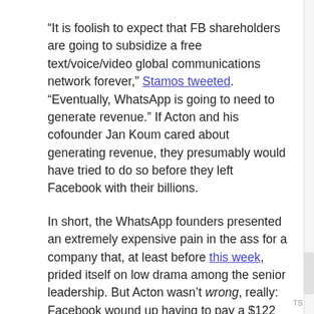“It is foolish to expect that FB shareholders are going to subsidize a free text/voice/video global communications network forever,” Stamos tweeted. “Eventually, WhatsApp is going to need to generate revenue.” If Acton and his cofounder Jan Koum cared about generating revenue, they presumably would have tried to do so before they left Facebook with their billions.
In short, the WhatsApp founders presented an extremely expensive pain in the ass for a company that, at least before this week, prided itself on low drama among the senior leadership. But Acton wasn’t wrong, really: Facebook wound up having to pay a $122 million fine for commingling that user data. And the fact that WhatsApp ultimately will monetize through advertising does indeed make him look like a liar.